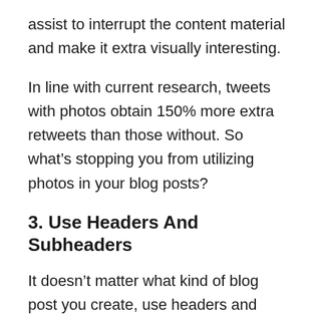assist to interrupt the content material and make it extra visually interesting.
In line with current research, tweets with photos obtain 150% more extra retweets than those without. So what’s stopping you from utilizing photos in your blog posts?
3. Use Headers And Subheaders
It doesn’t matter what kind of blog post you create, use headers and